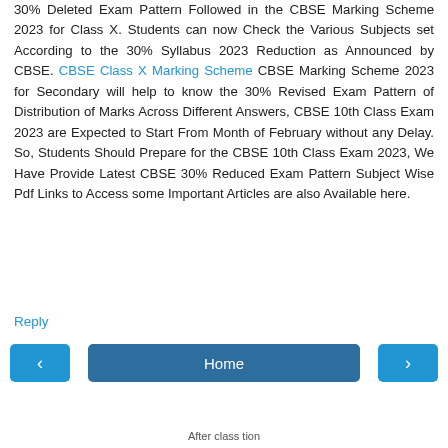30% Deleted Exam Pattern Followed in the CBSE Marking Scheme 2023 for Class X. Students can now Check the Various Subjects set According to the 30% Syllabus 2023 Reduction as Announced by CBSE. CBSE Class X Marking Scheme CBSE Marking Scheme 2023 for Secondary will help to know the 30% Revised Exam Pattern of Distribution of Marks Across Different Answers, CBSE 10th Class Exam 2023 are Expected to Start From Month of February without any Delay. So, Students Should Prepare for the CBSE 10th Class Exam 2023, We Have Provide Latest CBSE 30% Reduced Exam Pattern Subject Wise Pdf Links to Access some Important Articles are also Available here.
Reply
[Figure (other): Navigation bar with left arrow button, Home button, and right arrow button]